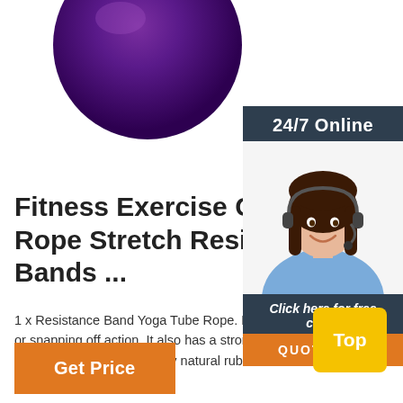[Figure (photo): Purple exercise ball, partially visible at top of page]
[Figure (infographic): Sidebar with '24/7 Online' header, photo of female customer service rep with headset, 'Click here for free chat!' text, and orange QUOTATION button]
Fitness Exercise Cords R Rope Stretch Resistance Bands ...
1 x Resistance Band Yoga Tube Rope. Ru bands are easily added or removed by sna on or snapping off action. It also has a strong the fitness effect. Our resistance tubings are made of professional quality natural rubber latex.
[Figure (infographic): Yellow 'Top' button in bottom right corner]
Get Price